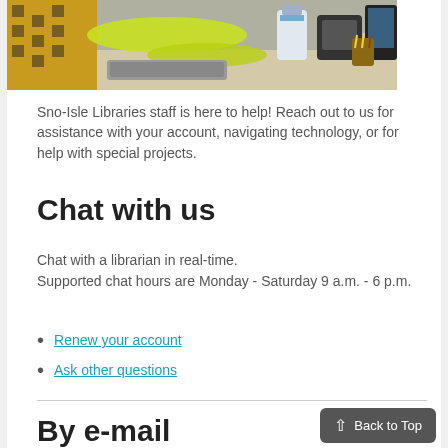[Figure (photo): Library staff member at a service desk, reaching across to assist with a device. A person in a yellow-green top is visible along with equipment and a monitor.]
Sno-Isle Libraries staff is here to help! Reach out to us for assistance with your account, navigating technology, or for help with special projects.
Chat with us
Chat with a librarian in real-time. Supported chat hours are Monday - Saturday 9 a.m. - 6 p.m.
Renew your account
Ask other questions
By e-mail